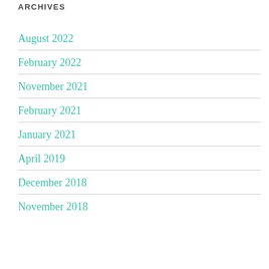ARCHIVES
August 2022
February 2022
November 2021
February 2021
January 2021
April 2019
December 2018
November 2018